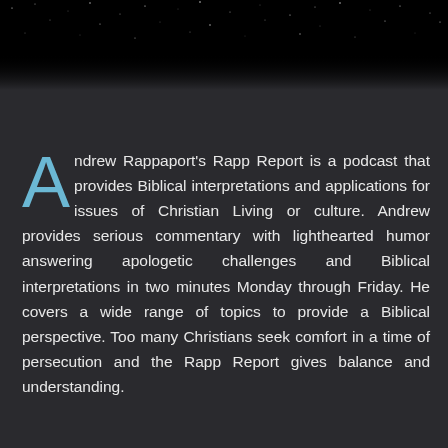[Figure (illustration): Dark starfield background at the top of the page — black sky with scattered white star dots fading into dark grey.]
Andrew Rappaport's Rapp Report is a podcast that provides Biblical interpretations and applications for issues of Christian Living or culture. Andrew provides serious commentary with lighthearted humor answering apologetic challenges and Biblical interpretations in two minutes Monday through Friday. He covers a wide range of topics to provide a Biblical perspective. Too many Christians seek comfort in a time of persecution and the Rapp Report gives balance and understanding.